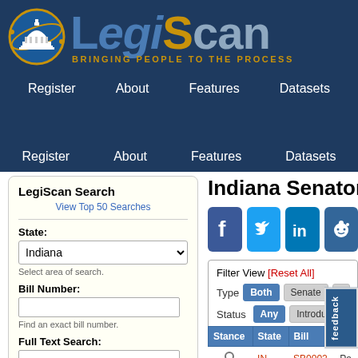[Figure (logo): LegiScan logo with capitol dome icon, text reading LEGISCAN and subtitle BRINGING PEOPLE TO THE PROCESS]
Register  About  Features  Datasets
LegiScan Search
View Top 50 Searches
State: Indiana
Select area of search.
Bill Number:
Find an exact bill number.
Full Text Search:
Search bill text and data. [help]
Search  Reset
LegiScan Info
Indiana Senator E…
[Figure (screenshot): Social media share icons: Facebook, Twitter, LinkedIn, Reddit]
Filter View [Reset All]
Type  Both  Senate  H…
Status  Any  Introduced
| Stance | State | Bill |  |
| --- | --- | --- | --- |
| (search icon) | IN | SB0002 | Pa… |
feedback